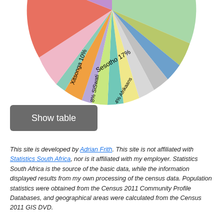[Figure (pie-chart): Home language distribution]
Show table
This site is developed by Adrian Frith. This site is not affiliated with Statistics South Africa, nor is it affiliated with my employer. Statistics South Africa is the source of the basic data, while the information displayed results from my own processing of the census data. Population statistics were obtained from the Census 2011 Community Profile Databases, and geographical areas were calculated from the Census 2011 GIS DVD.